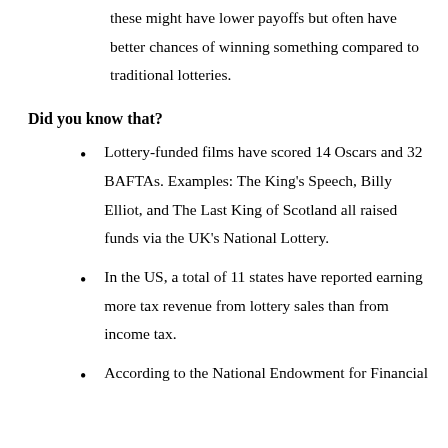these might have lower payoffs but often have better chances of winning something compared to traditional lotteries.
Did you know that?
Lottery-funded films have scored 14 Oscars and 32 BAFTAs. Examples: The King's Speech, Billy Elliot, and The Last King of Scotland all raised funds via the UK's National Lottery.
In the US, a total of 11 states have reported earning more tax revenue from lottery sales than from income tax.
According to the National Endowment for Financial